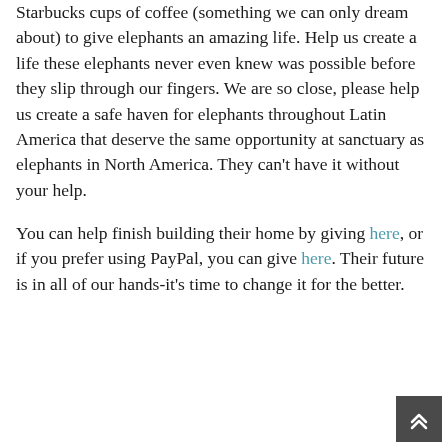Starbucks cups of coffee (something we can only dream about) to give elephants an amazing life. Help us create a life these elephants never even knew was possible before they slip through our fingers. We are so close, please help us create a safe haven for elephants throughout Latin America that deserve the same opportunity at sanctuary as elephants in North America. They can't have it without your help.
You can help finish building their home by giving here, or if you prefer using PayPal, you can give here. Their future is in all of our hands-it's time to change it for the better.